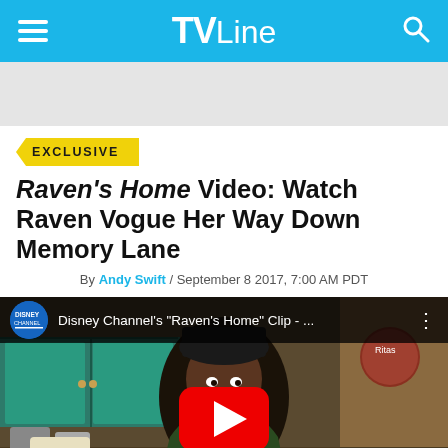TVLine
EXCLUSIVE
Raven's Home Video: Watch Raven Vogue Her Way Down Memory Lane
By Andy Swift / September 8 2017, 7:00 AM PDT
[Figure (screenshot): YouTube video thumbnail showing Disney Channel's 'Raven's Home' Clip with a young girl in a kitchen scene and a YouTube play button overlay]